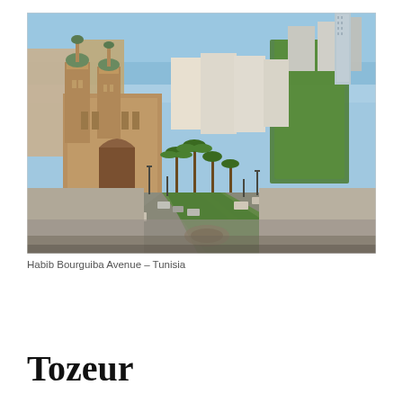[Figure (photo): Aerial/elevated view of Habib Bourguiba Avenue in Tunis, Tunisia. A grand boulevard runs through the center of the image lined with palm trees and green hedges. On the left is a large ornate cathedral (St. Vincent de Paul Cathedral) with twin towers and a dome. White multi-story buildings line the avenue. Cars and pedestrians fill the street. In the distance, the sea is visible under a clear blue sky, with a modern tower block on the right horizon.]
Habib Bourguiba Avenue – Tunisia
Tozeur